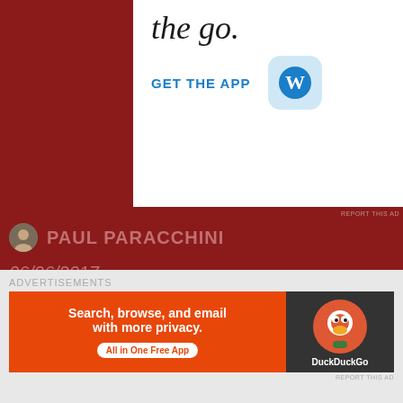[Figure (screenshot): WordPress app advertisement with 'the go.' text, 'GET THE APP' link, and WordPress logo icon]
REPORT THIS AD
PAUL PARACCHINI
06/06/2017
| CONTENTS [ HIDE ] |
| 1 SHARE THIS: |
| 2 LIKE THIS: |
[Figure (screenshot): DuckDuckGo advertisement: 'Search, browse, and email with more privacy. All in One Free App' with DuckDuckGo logo]
REPORT THIS AD